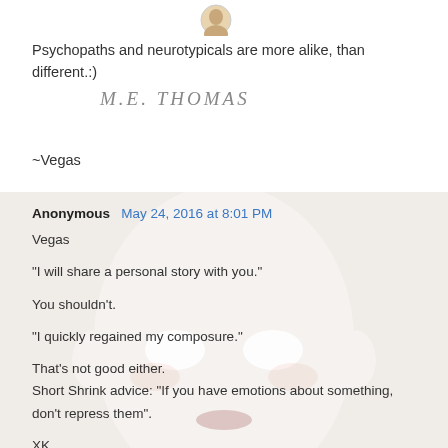[Figure (illustration): Small circular avatar/profile image at top center]
Psychopaths and neurotypicals are more alike, than different.:)
[Figure (illustration): Handwritten signature reading M.E. THOMAS in pencil/graphite style]
~Vegas
[Figure (illustration): Background image of a white mannequin face/mask with blank eye holes and pale lips, serving as background for the comment section]
Anonymous May 24, 2016 at 8:01 PM

Vegas

"I will share a personal story with you."

You shouldn't.

"I quickly regained my composure."

That's not good either.
Short Shrink advice: "If you have emotions about something, don't repress them".

XK